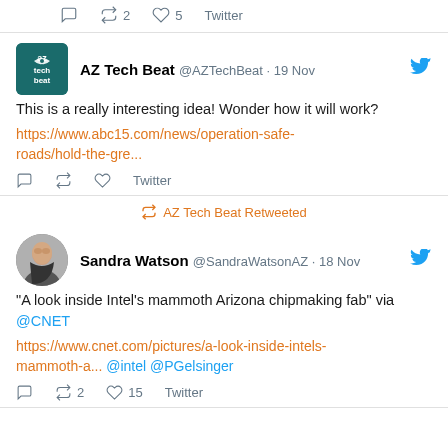Twitter actions: reply, retweet 2, like 5, Twitter
AZ Tech Beat @AZTechBeat · 19 Nov — This is a really interesting idea! Wonder how it will work? https://www.abc15.com/news/operation-safe-roads/hold-the-gre...
AZ Tech Beat Retweeted
Sandra Watson @SandraWatsonAZ · 18 Nov — "A look inside Intel's mammoth Arizona chipmaking fab" via @CNET https://www.cnet.com/pictures/a-look-inside-intels-mammoth-a... @intel @PGelsinger